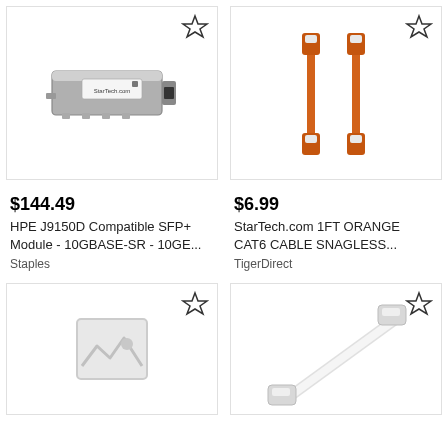[Figure (photo): HPE J9150D Compatible SFP+ module, metallic silver transceiver]
[Figure (photo): Two orange CAT6 network cables with snagless connectors]
$144.49
HPE J9150D Compatible SFP+ Module - 10GBASE-SR - 10GE...
Staples
$6.99
StarTech.com 1FT ORANGE CAT6 CABLE SNAGLESS...
TigerDirect
[Figure (photo): Placeholder image icon (no image available)]
[Figure (photo): White CAT6 network cable with snagless connector]